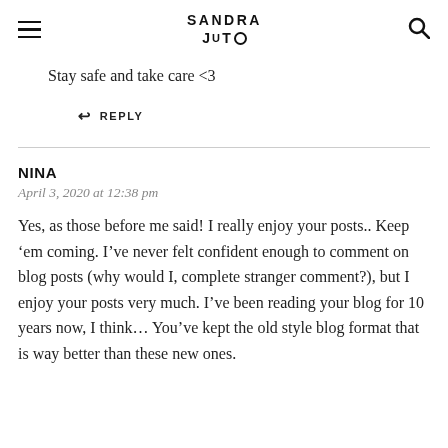SANDRA JUTO
Stay safe and take care <3
↩ REPLY
NINA
April 3, 2020 at 12:38 pm
Yes, as those before me said! I really enjoy your posts.. Keep 'em coming. I've never felt confident enough to comment on blog posts (why would I, complete stranger comment?), but I enjoy your posts very much. I've been reading your blog for 10 years now, I think... You've kept the old style blog format that is way better than these new ones.